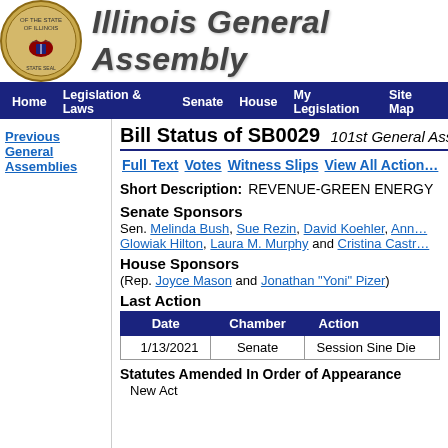[Figure (logo): Seal of the State of Illinois, circular emblem with eagle and shield]
Illinois General Assembly
Home  Legislation & Laws  Senate  House  My Legislation  Site Map
Previous General Assemblies
Bill Status of SB0029  101st General Assembly
Full Text  Votes  Witness Slips  View All Actions
Short Description:  REVENUE-GREEN ENERGY
Senate Sponsors
Sen. Melinda Bush, Sue Rezin, David Koehler, Ann Glowiak Hilton, Laura M. Murphy and Cristina Castro
House Sponsors
(Rep. Joyce Mason and Jonathan "Yoni" Pizer)
Last Action
| Date | Chamber | Action |
| --- | --- | --- |
| 1/13/2021 | Senate | Session Sine Die |
Statutes Amended In Order of Appearance
New Act